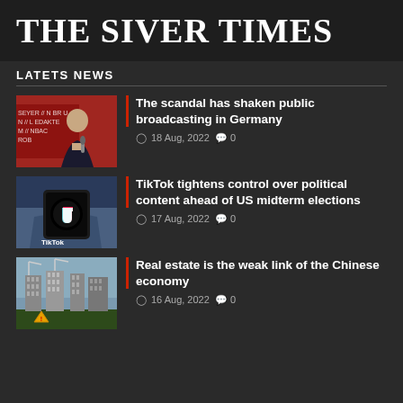THE SIVER TIMES
LATETS NEWS
The scandal has shaken public broadcasting in Germany | 18 Aug, 2022  0
TikTok tightens control over political content ahead of US midterm elections | 17 Aug, 2022  0
Real estate is the weak link of the Chinese economy | 16 Aug, 2022  0